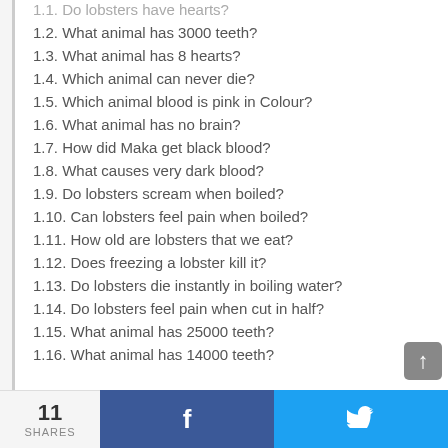1.1. Do lobsters have hearts? (truncated at top)
1.2. What animal has 3000 teeth?
1.3. What animal has 8 hearts?
1.4. Which animal can never die?
1.5. Which animal blood is pink in Colour?
1.6. What animal has no brain?
1.7. How did Maka get black blood?
1.8. What causes very dark blood?
1.9. Do lobsters scream when boiled?
1.10. Can lobsters feel pain when boiled?
1.11. How old are lobsters that we eat?
1.12. Does freezing a lobster kill it?
1.13. Do lobsters die instantly in boiling water?
1.14. Do lobsters feel pain when cut in half?
1.15. What animal has 25000 teeth?
1.16. What animal has 14000 teeth?
11 SHARES  f  (twitter bird)